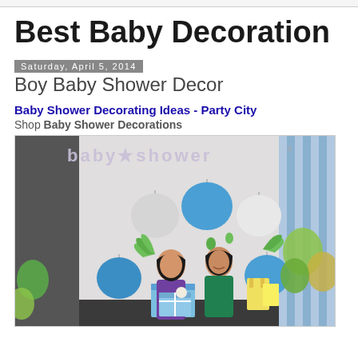Best Baby Decoration
Saturday, April 5, 2014
Boy Baby Shower Decor
Baby Shower Decorating Ideas - Party City
Shop Baby Shower Decorations
[Figure (photo): Two women at a baby shower decorated with colorful paper lanterns in blue, white and green, green paper fans, a 'baby shower' banner, and balloons. One woman in purple holds a gift box, the other in green stands beside her. Party City decoration setup.]